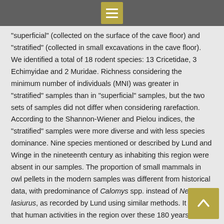[menu icon]
“superficial” (collected on the surface of the cave floor) and “stratified” (collected in small excavations in the cave floor). We identified a total of 18 rodent species: 13 Cricetidae, 3 Echimyidae and 2 Muridae. Richness considering the minimum number of individuals (MNI) was greater in “stratified” samples than in “superficial” samples, but the two sets of samples did not differ when considering rarefaction. According to the Shannon-Wiener and Pielou indices, the “stratified” samples were more diverse and with less species dominance. Nine species mentioned or described by Lund and Winge in the nineteenth century as inhabiting this region were absent in our samples. The proportion of small mammals in owl pellets in the modern samples was different from historical data, with predominance of Calomys spp. instead of Necromys lasiurus, as recorded by Lund using similar methods. It is likely that human activities in the region over these 180 years have influenced the